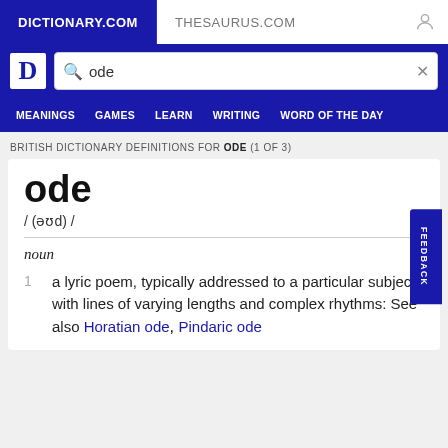DICTIONARY.COM | THESAURUS.COM
ode (search query)
MEANINGS  GAMES  LEARN  WRITING  WORD OF THE DAY
BRITISH DICTIONARY DEFINITIONS FOR ODE (1 OF 3)
ode
/ (əʊd) /
noun
1  a lyric poem, typically addressed to a particular subject, with lines of varying lengths and complex rhythms: See also Horatian ode, Pindaric ode